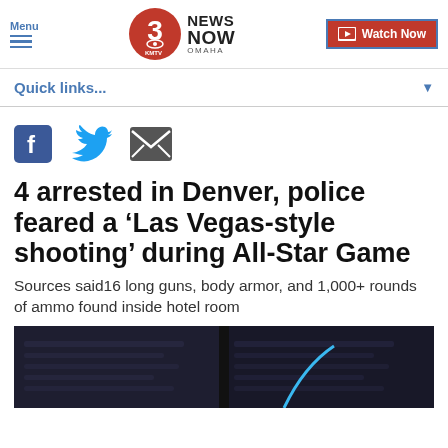Menu | 3 News Now KMTV Omaha | Watch Now
Quick links...
[Figure (other): Social share icons: Facebook, Twitter, Email]
4 arrested in Denver, police feared a ‘Las Vegas-style shooting’ during All-Star Game
Sources said16 long guns, body armor, and 1,000+ rounds of ammo found inside hotel room
[Figure (photo): Dark video thumbnail showing blurred news footage]